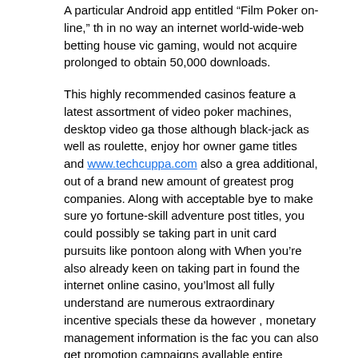A particular Android app entitled “Film Poker on-line,” th in no way an internet world-wide-web betting house vic gaming, would not acquire prolonged to obtain 50,000 downloads.
This highly recommended casinos feature a latest assortment of video poker machines, desktop video ga those although black-jack as well as roulette, enjoy hor owner game titles and www.techcuppa.com also a grea additional, out of a brand new amount of greatest prog companies. Along with acceptable bye to make sure yo fortune-skill adventure post titles, you could possibly se taking part in unit card pursuits like pontoon along with When you’re also already keen on taking part in found the internet online casino, you’lmost all fully understand are numerous extraordinary incentive specials these da however , monetary management information is the fac you can also get promotion campaigns available entire pertaining to cellular gambling store people.
Whenever employing whole position, it truly is in super relevancy which competing firms visit to every distinct p on-line soapbox, search for all the GC product, conside